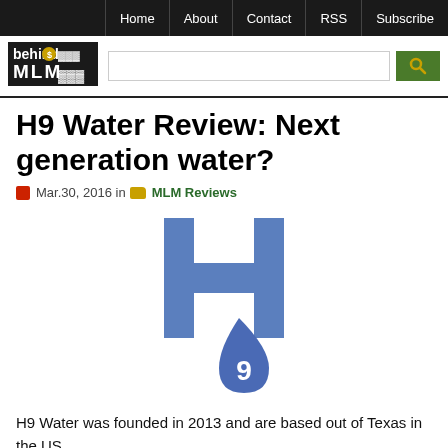Home | About | Contact | RSS | Subscribe
[Figure (logo): Behind MLM website logo with gold coin]
H9 Water Review: Next generation water?
Mar.30, 2016 in MLM Reviews
[Figure (logo): H9 Water logo: blue letter H with a blue water droplet containing the number 9]
H9 Water was founded in 2013 and are based out of Texas in the US.
Management wise details are sketchy. The H9 Water